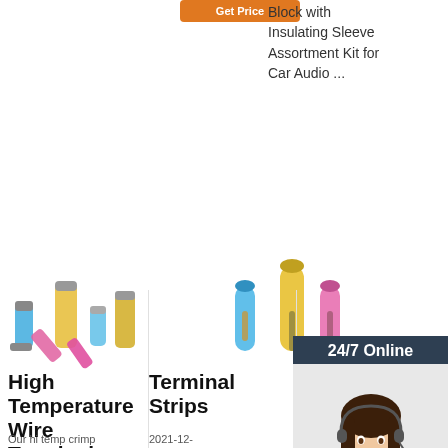[Figure (other): Orange 'Get Price' button (partially cut at top)]
Block with Insulating Sleeve Assortment Kit for Car Audio ...
[Figure (other): Orange 'Get Price' button]
[Figure (other): 24/7 Online chat banner with customer service representative photo and QUOTATION button]
[Figure (photo): High temperature wire terminal connectors in blue, yellow, and pink colors]
[Figure (photo): Terminal strip connectors in blue, yellow, and pink colors]
High Temperature Wire Terminals
Terminal Strips
Terminals – Mouser
Our hi temp crimp
2021-12-31u2002·u2002Protect, connect, and organize your wire
Terminal connectors are available at Mouser
[Figure (logo): TOP logo with orange dots and text]